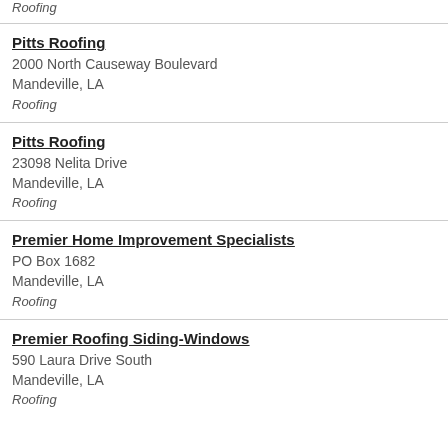Roofing
Pitts Roofing
2000 North Causeway Boulevard
Mandeville, LA
Roofing
Pitts Roofing
23098 Nelita Drive
Mandeville, LA
Roofing
Premier Home Improvement Specialists
PO Box 1682
Mandeville, LA
Roofing
Premier Roofing Siding-Windows
590 Laura Drive South
Mandeville, LA
Roofing